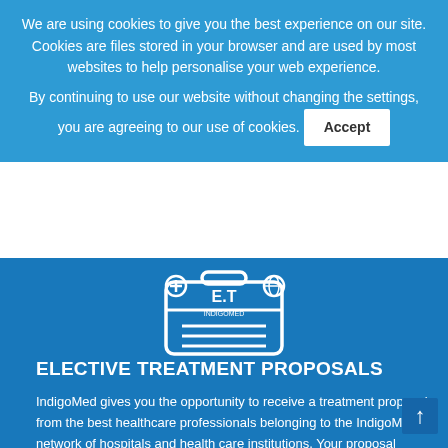We are using cookies to give you the best experience on our site. Cookies are files stored in your browser and are used by most websites to help personalise your web experience.
By continuing to use our website without changing the settings, you are agreeing to our use of cookies. Accept
[Figure (illustration): Medical kit / briefcase icon with 'E.T IndigoMed' label, cross symbol and globe symbol, white outline on blue background]
ELECTIVE TREATMENT PROPOSALS
IndigoMed gives you the opportunity to receive a treatment proposal from the best healthcare professionals belonging to the IndigoMed network of hospitals and health care institutions. Your proposal includes a full packaged intervention proposition and admission date.